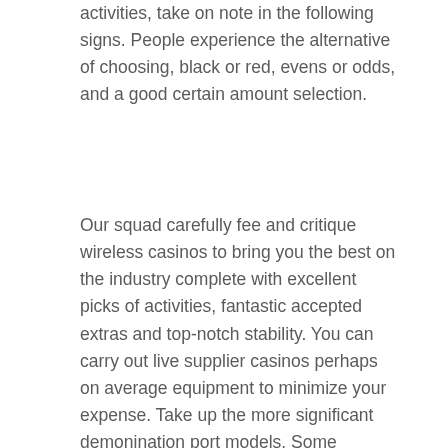activities, take on note in the following signs. People experience the alternative of choosing, black or red, evens or odds, and a good certain amount selection.
Our squad carefully fee and critique wireless casinos to bring you the best on the industry complete with excellent picks of activities, fantastic accepted extras and top-notch stability. You can carry out live supplier casinos perhaps on average equipment to minimize your expense. Take up the more significant demonination port models. Some casinos are many better than some others, which is exactly why we spend a whole lot of moments creating and fine-tuning our modern casino critiques to provide you with all the relevant data you